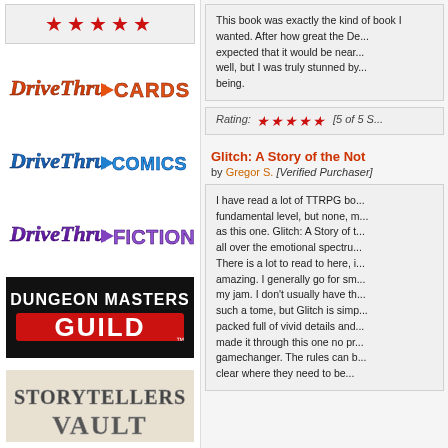[Figure (other): Five red star rating icons in a light gray box]
[Figure (logo): DriveThruCards logo - orange and red stylized text on white background]
[Figure (logo): DriveThruComics logo - blue stylized text on white background]
[Figure (logo): DriveThruFiction logo - purple stylized text on white background]
[Figure (logo): Dungeon Masters Guild logo - black and red text on white background]
[Figure (logo): Storytellers Vault logo - grey stone-style text on white background]
This book was exactly the kind of book I wanted. After how great the De... expected that it would be near... well, but I was truly stunned by... being.
Rating: [5 of 5 S...
Glitch: A Story of the Not
by Gregor S. [Verified Purchaser]
I have read a lot of TTRPG bo... fundamental level, but none, m... as this one. Glitch: A Story of t... all over the emotional spectru... There is a lot to read to here, i... amazing. I generally go for sm... my jam. I don't usually have th... such a tome, but Glitch is simp... packed full of vivid details and... made it through this one no pr... gamechanger. The rules can b... clear where they need to be...